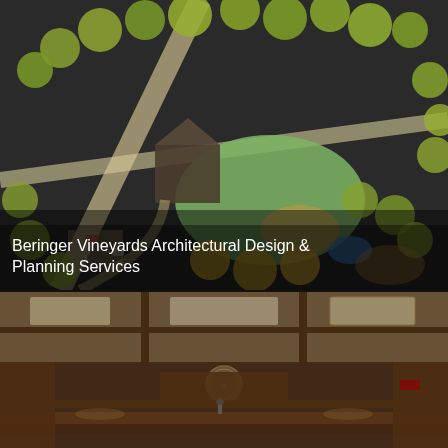[Figure (illustration): Aerial/bird's-eye color illustration of a landscape architectural site plan for Beringer Vineyards showing trees, pathways, buildings, green lawn area, parking, and garden features. Image is partially darkened with a semi-transparent overlay.]
Beringer Vineyards Architectural Design & Planning Services
[Figure (photo): Interior photograph of a courtroom or formal meeting chamber with wood paneling, recessed ceiling lighting, a government seal on the back wall, and rows of wood furniture/desks. Image has a warm brown tone with dimmed lighting.]